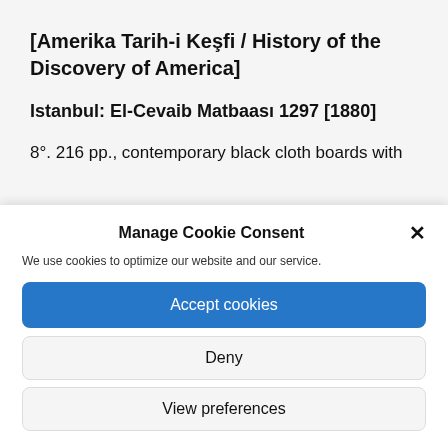[Amerika Tarih-i Keşfi / History of the Discovery of America]
Istanbul: El-Cevaib Matbaası 1297 [1880]
8°. 216 pp., contemporary black cloth boards with
Manage Cookie Consent
We use cookies to optimize our website and our service.
Accept cookies
Deny
View preferences